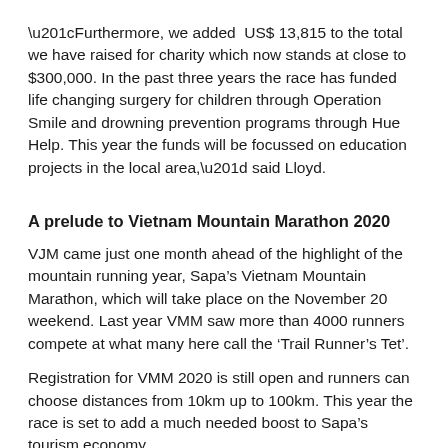“Furthermore, we added US$ 13,815 to the total we have raised for charity which now stands at close to $300,000. In the past three years the race has funded life changing surgery for children through Operation Smile and drowning prevention programs through Hue Help. This year the funds will be focussed on education projects in the local area,” said Lloyd.
A prelude to Vietnam Mountain Marathon 2020
VJM came just one month ahead of the highlight of the mountain running year, Sapa’s Vietnam Mountain Marathon, which will take place on the November 20 weekend. Last year VMM saw more than 4000 runners compete at what many here call the ‘Trail Runner’s Tet’.
Registration for VMM 2020 is still open and runners can choose distances from 10km up to 100km. This year the race is set to add a much needed boost to Sapa’s tourism economy.